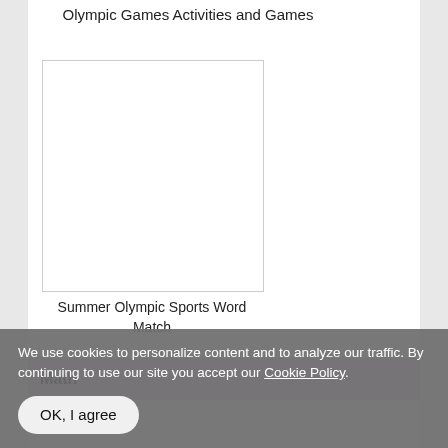Olympic Games Activities and Games
[Figure (illustration): Blank white rectangular image placeholder for Summer Olympic Sports Word Match activity]
Summer Olympic Sports Word Match
Math
We use cookies to personalize content and to analyze our traffic. By continuing to use our site you accept our Cookie Policy.
OK, I agree